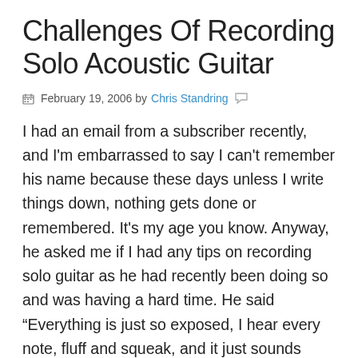Challenges Of Recording Solo Acoustic Guitar
February 19, 2006 by Chris Standring
I had an email from a subscriber recently, and I'm embarrassed to say I can't remember his name because these days unless I write things down, nothing gets done or remembered. It's my age you know. Anyway, he asked me if I had any tips on recording solo guitar as he had recently been doing so and was having a hard time. He said “Everything is just so exposed, I hear every note, fluff and squeak, and it just sounds terrible and I had to give up in the end”.